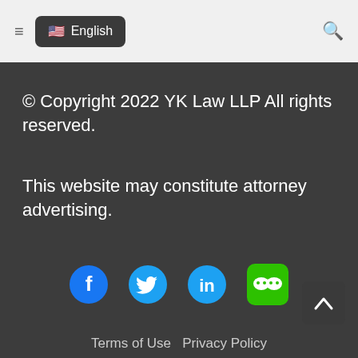English
© Copyright 2022 YK Law LLP All rights reserved.
This website may constitute attorney advertising.
[Figure (infographic): Social media icons row: Facebook (blue circle with f), Twitter (blue bird), LinkedIn (blue 'in'), WeChat (green rounded square with two chat bubble faces)]
Terms of Use   Privacy Policy